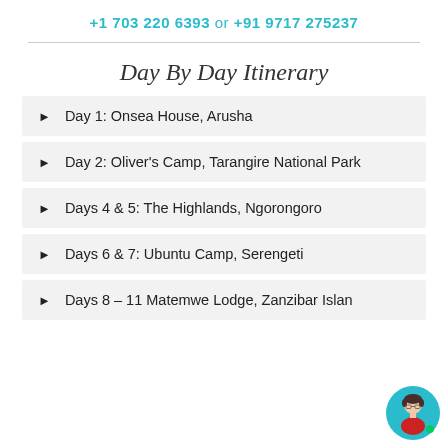+1 703 220 6393 or +91 9717 275237
Day By Day Itinerary
Day 1: Onsea House, Arusha
Day 2: Oliver's Camp, Tarangire National Park
Days 4 & 5: The Highlands, Ngorongoro
Days 6 & 7: Ubuntu Camp, Serengeti
Days 8 – 11 Matemwe Lodge, Zanzibar Island